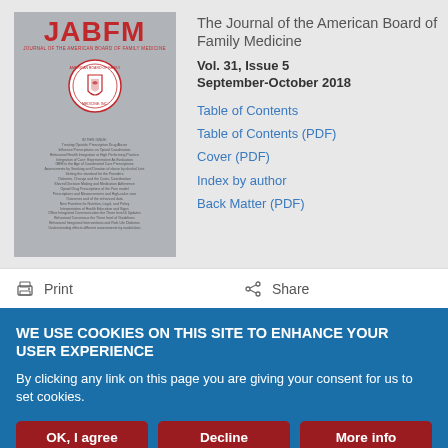[Figure (illustration): Cover of JABFM journal - gray background with red JABFM logo at top, subtitle text below, circular emblem/seal in center, table of contents text at bottom]
The Journal of the American Board of Family Medicine
Vol. 31, Issue 5
September-October 2018
Table of Contents
Table of Contents (PDF)
Cover (PDF)
Index by author
Back Matter (PDF)
Print
Share
WE USE COOKIES ON THIS SITE TO ENHANCE YOUR USER EXPERIENCE
By clicking any link on this page you are giving your consent for us to set cookies.
OK, I agree
Decline
More info